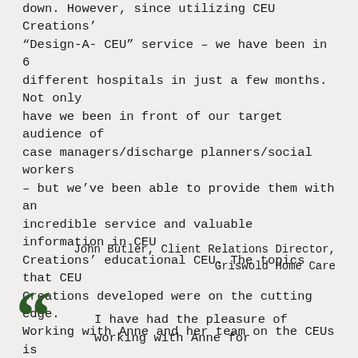down. However, since utilizing CEU Creations' “Design-A- CEU” service – we have been in 6 different hospitals in just a few months. Not only have we been in front of our target audience of case managers/discharge planners/social workers – but we’ve been able to provide them with an incredible service and valuable information in CEU Creations’ educational CEU. The topics that CEU Creations developed were on the cutting edge. Working with Anne and her team on the CEUs is such a positive experience (in fact, we have many more conferences planned with CEU Creations) – they exude professionalism, expertise and constantly strive for excellence. We highly recommend CEU Creations’ services.”
John Butler, Client Relations Director, Griswold Home Care
I have had the pleasure of working with Anne for